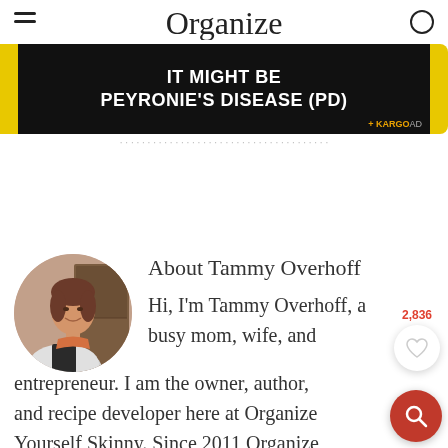Organize Yourself Skinny
[Figure (infographic): Advertisement banner: black background with yellow sides, white bold text reading IT MIGHT BE PEYRONIE'S DISEASE (PD), Kargo AD label bottom right]
[Figure (photo): Circular profile photo of Tammy Overhoff, a woman smiling, wearing a light gray blazer]
About Tammy Overhoff
Hi, I'm Tammy Overhoff, a busy mom, wife, and entrepreneur. I am the owner, author, and recipe developer here at Organize Yourself Skinny. Since 2011 Organize